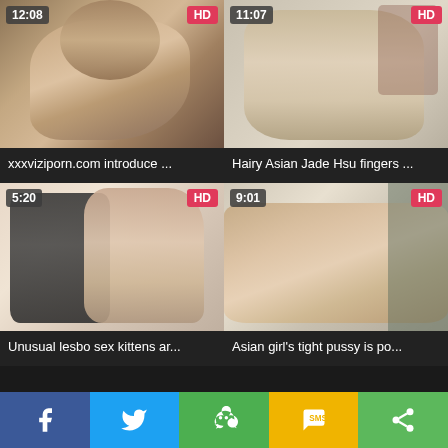[Figure (screenshot): Video thumbnail 1 with timestamp 12:08 and HD badge]
xxxviziporn.com introduce ...
[Figure (screenshot): Video thumbnail 2 with timestamp 11:07 and HD badge]
Hairy Asian Jade Hsu fingers ...
[Figure (screenshot): Video thumbnail 3 with timestamp 5:20 and HD badge]
Unusual lesbo sex kittens ar...
[Figure (screenshot): Video thumbnail 4 with timestamp 9:01 and HD badge]
Asian girl's tight pussy is po...